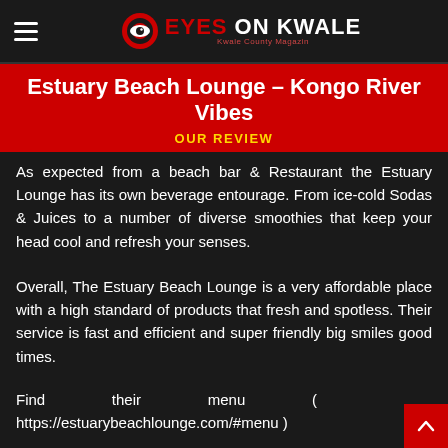EYES ON KWALE — Kwale County Magazin
Estuary Beach Lounge – Kongo River Vibes
OUR REVIEW
As expected from a beach bar & Restaurant the Estuary Lounge has its own beverage entourage. From ice-cold Sodas & Juices to a number of diverse smoothies that keep your head cool and refresh your senses.
Overall, The Estuary Beach Lounge is a very affordable place with a high standard of products that fresh and spotless. Their service is fast and efficient and super friendly big smiles good times.
Find their menu ( https://estuarybeachlounge.com/#menu )